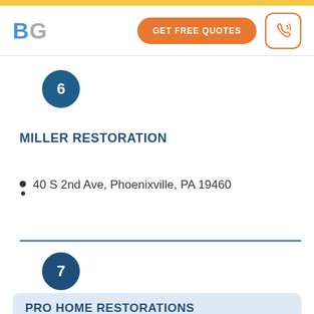BG | GET FREE QUOTES
6
MILLER RESTORATION
40 S 2nd Ave, Phoenixville, PA 19460
7
PRO HOME RESTORATIONS